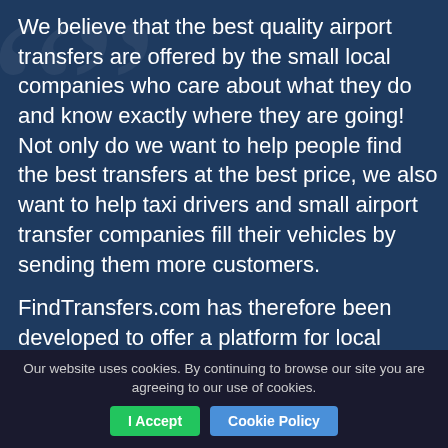We believe that the best quality airport transfers are offered by the small local companies who care about what they do and know exactly where they are going! Not only do we want to help people find the best transfers at the best price, we also want to help taxi drivers and small airport transfer companies fill their vehicles by sending them more customers.

FindTransfers.com has therefore been developed to offer a platform for local transfer companies to attract more bookings. Our aim is to make it as easy as possible for potential customers to find
Our website uses cookies. By continuing to browse our site you are agreeing to our use of cookies. | I Accept | Cookie Policy